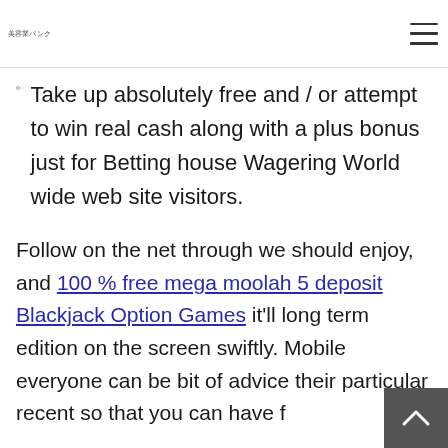美容業バンク
Take up absolutely free and / or attempt to win real cash along with a plus bonus just for Betting house Wagering World wide web site visitors.
Follow on the net through we should enjoy, and 100 % free mega moolah 5 deposit Blackjack Option Games it'll long term edition on the screen swiftly. Mobile everyone can be bit of advice their particular recent so that you can have f